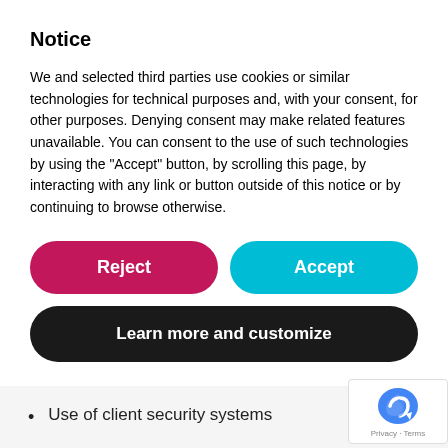Notice
We and selected third parties use cookies or similar technologies for technical purposes and, with your consent, for other purposes. Denying consent may make related features unavailable. You can consent to the use of such technologies by using the "Accept" button, by scrolling this page, by interacting with any link or button outside of this notice or by continuing to browse otherwise.
[Figure (other): Reject button (pink/magenta rounded rectangle)]
[Figure (other): Accept button (teal rounded rectangle)]
[Figure (other): Learn more and customize button (dark/black rounded rectangle)]
customer service in a professional setting
Use of client software
Use of client security systems
Carry out routine patrols